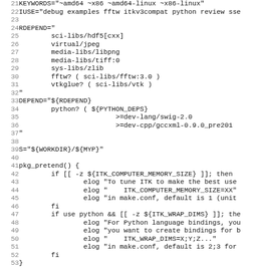Code listing lines 21-53 showing a Gentoo ebuild script with KEYWORDS, IUSE, RDEPEND, DEPEND, S, and pkg_pretend() function definitions